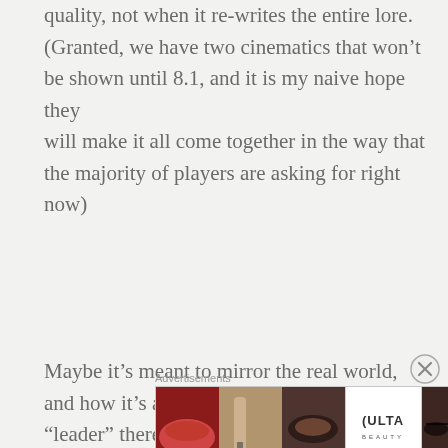(Granted, we have two cinematics that won't be shown until 8.1, and it is my naive hope they will make it all come together in the way that the majority of players are asking for right now)
Maybe it's meant to mirror the real world, and how it's awful having to follow our “leader” there, despite their actions we do not agree with. But this is a video game. I play to have fun. In a fantasy world. I am not asking for rainbow and unicorns, not at all. But the balance is all out of whack, I think, and the way it is being told is wrong to the very core.
Advertisements
[Figure (other): Advertisement banner for ULTA beauty products showing close-up images of lips, makeup brush, eye, ULTA logo, eyes with dramatic makeup, and a SHOP NOW call to action.]